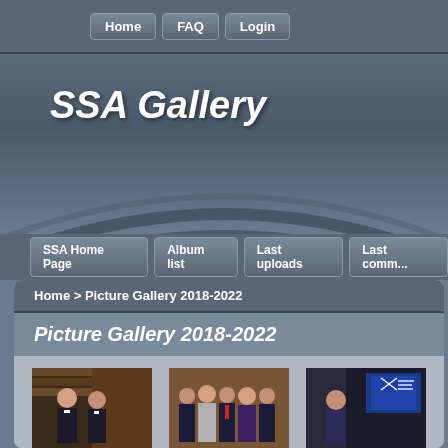Home | FAQ | Login
SSA Gallery
SSA Home Page | Album list | Last uploads | Last comm...
Home > Picture Gallery 2018-2022
Picture Gallery 2018-2022
[Figure (photo): Two men in formal attire with Scottish dress]
[Figure (photo): Group of people in formal/Scottish attire at an event]
2022-02 Boswell in Philadelphia
37 views
[Figure (photo): Man in suit at event with Scottish flag and projection screen]
2022-01 Boswell
34 views